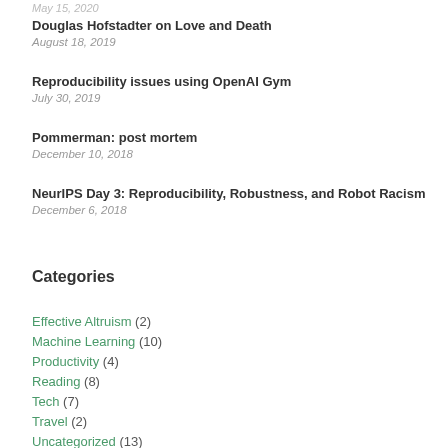May 15, 2020
Douglas Hofstadter on Love and Death
August 18, 2019
Reproducibility issues using OpenAI Gym
July 30, 2019
Pommerman: post mortem
December 10, 2018
NeurIPS Day 3: Reproducibility, Robustness, and Robot Racism
December 6, 2018
Categories
Effective Altruism (2)
Machine Learning (10)
Productivity (4)
Reading (8)
Tech (7)
Travel (2)
Uncategorized (13)